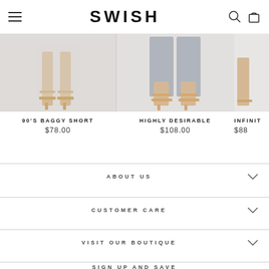SWISH — navigation header with hamburger menu, logo, search and cart icons
[Figure (photo): Product photo showing feet/legs with gold sandal heels on light background, cropped — 90's Baggy Short]
90'S BAGGY SHORT
$78.00
[Figure (photo): Product photo showing feet/legs with nude heeled sandals and grey wide-leg pants — Highly Desirable]
HIGHLY DESIRABLE
$108.00
[Figure (photo): Partial product photo cropped at right edge — INFINIT...]
INFINIT...
$88...
ABOUT US
CUSTOMER CARE
VISIT OUR BOUTIQUE
SIGN UP AND SAVE